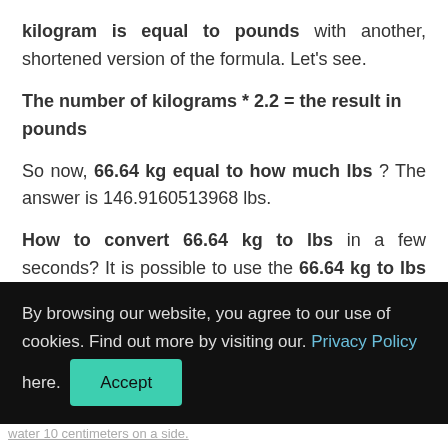kilogram is equal to pounds with another, shortened version of the formula. Let's see.
The number of kilograms * 2.2 = the result in pounds
So now, 66.64 kg equal to how much lbs ? The answer is 146.9160513968 lbs.
How to convert 66.64 kg to lbs in a few seconds? It is possible to use the 66.64 kg to lbs converter , which will make whole mathematical operation for you and give you an accurate answer .
By browsing our website, you agree to our use of cookies. Find out more by visiting our. Privacy Policy here. Accept
water 10 centimeters on a side.